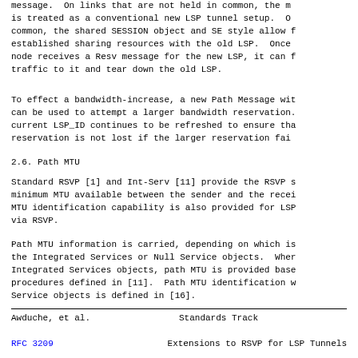message.  On links that are not held in common, the n
is treated as a conventional new LSP tunnel setup.  O
common, the shared SESSION object and SE style allow f
established sharing resources with the old LSP.  Once
node receives a Resv message for the new LSP, it can f
traffic to it and tear down the old LSP.
To effect a bandwidth-increase, a new Path Message wit
can be used to attempt a larger bandwidth reservation
current LSP_ID continues to be refreshed to ensure tha
reservation is not lost if the larger reservation fai
2.6. Path MTU
Standard RSVP [1] and Int-Serv [11] provide the RSVP s
minimum MTU available between the sender and the recei
MTU identification capability is also provided for LSP
via RSVP.
Path MTU information is carried, depending on which is
the Integrated Services or Null Service objects.  When
Integrated Services objects, path MTU is provided base
procedures defined in [11].  Path MTU identification w
Service objects is defined in [16].
Awduche, et al.            Standards Track
RFC 3209                Extensions to RSVP for LSP Tunnels